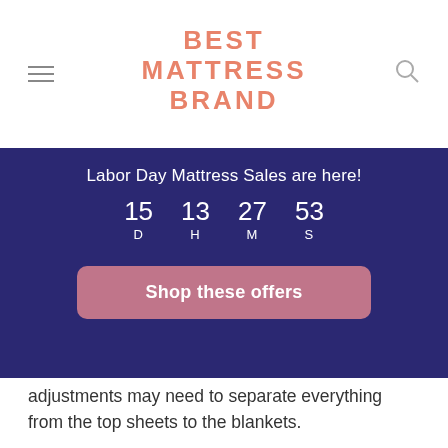BEST MATTRESS BRAND
[Figure (infographic): Dark blue promotional banner with countdown timer showing 15 D 13 H 27 M 53 S and a pink 'Shop these offers' button. Text: 'Labor Day Mattress Sales are here!']
adjustments may need to separate everything from the top sheets to the blankets.
What are the benefits of dual adjustable bases?
Adjustable bases have a lot of benefits for some